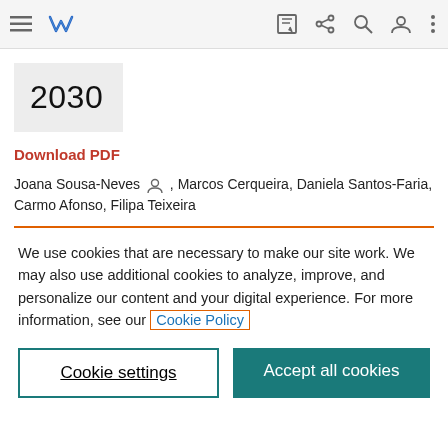Navigation bar with menu, logo, edit, share, search, user, more icons
2030
Download PDF
Joana Sousa-Neves, Marcos Cerqueira, Daniela Santos-Faria, Carmo Afonso, Filipa Teixeira
We use cookies that are necessary to make our site work. We may also use additional cookies to analyze, improve, and personalize our content and your digital experience. For more information, see our Cookie Policy
Cookie settings
Accept all cookies